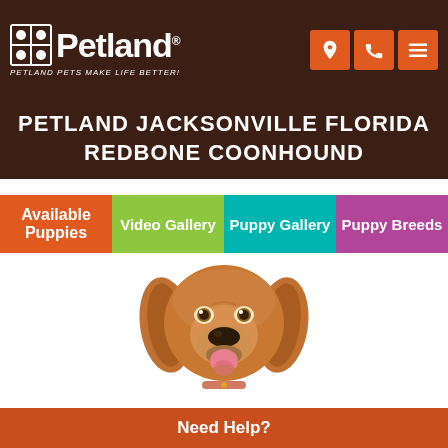Petland — PETLAND PETS MAKE LIFE BETTER!
PETLAND JACKSONVILLE FLORIDA REDBONE COONHOUND
Available Puppies
Video Gallery
Puppy Gallery
Puppy Breeds
[Figure (photo): A Redbone Coonhound puppy with reddish-brown fur, floppy ears, and pink tongue, photographed against a white background, facing forward.]
Need Help?